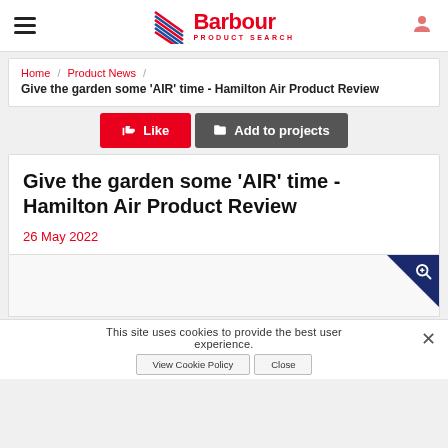Barbour Product Search
Home / Product News / Give the garden some 'AIR' time - Hamilton Air Product Review
Like | Add to projects
Give the garden some 'AIR' time - Hamilton Air Product Review
26 May 2022
[Figure (screenshot): Image thumbnail with dark blue zoom magnifier badge in top-right corner]
This site uses cookies to provide the best user experience.